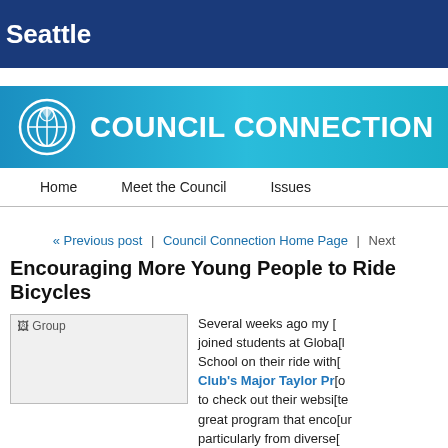Seattle
COUNCIL CONNECTION
Home | Meet the Council | Issues
« Previous post | Council Connection Home Page | Next
Encouraging More Young People to Ride Bicycles
[Figure (photo): Group photo placeholder image]
Several weeks ago my [office] joined students at Global [Opportunities] School on their ride with [Cascade Bike] Club's Major Taylor Pr[ogram]. [Click here] to check out their websi[te]. It's a great program that enco[urages cycling], particularly from diverse [backgrounds].